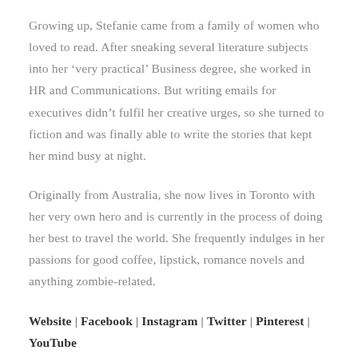Growing up, Stefanie came from a family of women who loved to read. After sneaking several literature subjects into her ‘very practical’ Business degree, she worked in HR and Communications. But writing emails for executives didn’t fulfil her creative urges, so she turned to fiction and was finally able to write the stories that kept her mind busy at night.
Originally from Australia, she now lives in Toronto with her very own hero and is currently in the process of doing her best to travel the world. She frequently indulges in her passions for good coffee, lipstick, romance novels and anything zombie-related.
Website | Facebook | Instagram | Twitter | Pinterest | YouTube